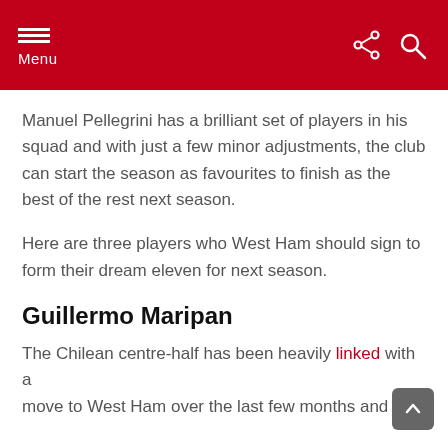Menu
Manuel Pellegrini has a brilliant set of players in his squad and with just a few minor adjustments, the club can start the season as favourites to finish as the best of the rest next season.
Here are three players who West Ham should sign to form their dream eleven for next season.
Guillermo Maripan
The Chilean centre-half has been heavily linked with a move to West Ham over the last few months and he